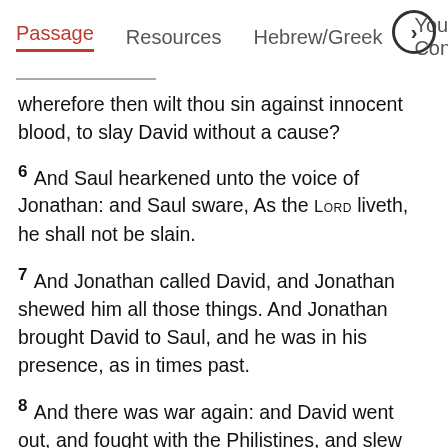Passage  Resources  Hebrew/Greek  Your Cont›
wherefore then wilt thou sin against innocent blood, to slay David without a cause?
6 And Saul hearkened unto the voice of Jonathan: and Saul sware, As the Lord liveth, he shall not be slain.
7 And Jonathan called David, and Jonathan shewed him all those things. And Jonathan brought David to Saul, and he was in his presence, as in times past.
8 And there was war again: and David went out, and fought with the Philistines, and slew them with a great slaughter; and they fled from him.
9 And the evil spirit from the Lord was upon Saul,